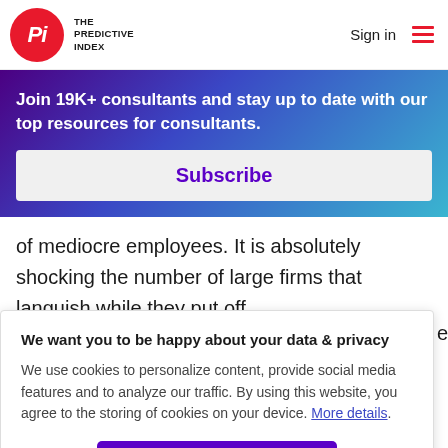THE PREDICTIVE INDEX — Sign in
Join 19K+ consultants and stay up to date with our top resources for consultants.
Subscribe
of mediocre employees. It is absolutely shocking the number of large firms that languish while they put off
We want you to be happy about your data & privacy
We use cookies to personalize content, provide social media features and to analyze our traffic. By using this website, you agree to the storing of cookies on your device. More details.
I Understand